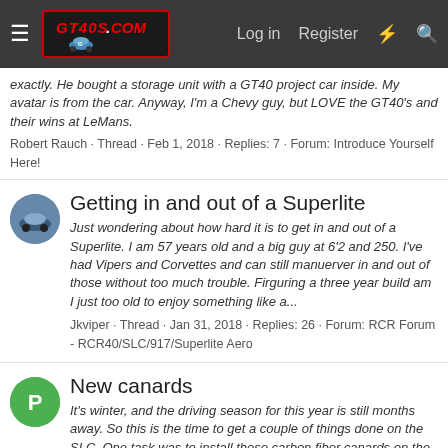GT40s.com navigation bar with Log in, Register links
exactly. He bought a storage unit with a GT40 project car inside. My avatar is from the car. Anyway, I'm a Chevy guy, but LOVE the GT40's and their wins at LeMans.
Robert Rauch · Thread · Feb 1, 2018 · Replies: 7 · Forum: Introduce Yourself Here!
Getting in and out of a Superlite
Just wondering about how hard it is to get in and out of a Superlite. I am 57 years old and a big guy at 6'2 and 250. I've had Vipers and Corvettes and can still manuerver in and out of those without too much trouble. Firguring a three year build am I just too old to enjoy something like a...
Jkviper · Thread · Jan 31, 2018 · Replies: 26 · Forum: RCR Forum - RCR40/SLC/917/Superlite Aero
New canards
It's winter, and the driving season for this year is still months away. So this is the time to get a couple of things done on the SLC. One task was to install these carbon fiber canards on the car. Ed helped out and we got them installed in about 2 hours. It would be